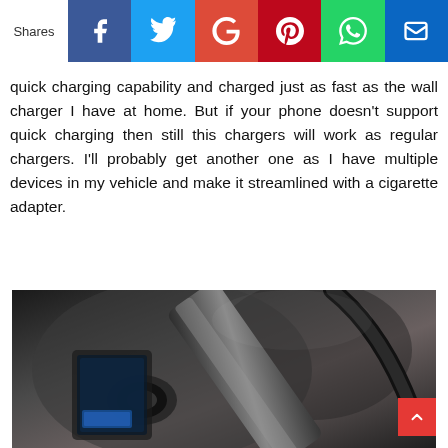Shares | Facebook | Twitter | G+ | Pinterest | WhatsApp | Email
quick charging capability and charged just as fast as the wall charger I have at home. But if your phone doesn't support quick charging then still this chargers will work as regular chargers. I'll probably get another one as I have multiple devices in my vehicle and make it streamlined with a cigarette adapter.
[Figure (photo): Close-up photo of a car cigarette lighter adapter/charger plugged into a vehicle dashboard charging port, with a phone visible.]